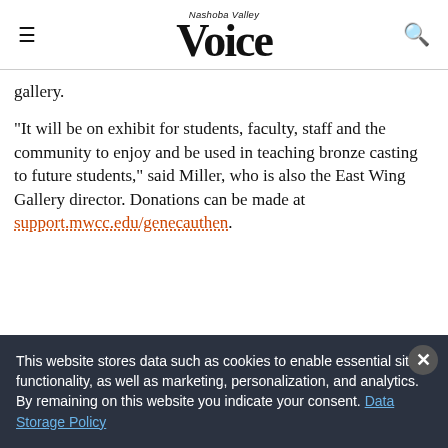Nashoba Valley Voice
gallery.
“It will be on exhibit for students, faculty, staff and the community to enjoy and be used in teaching bronze casting to future students,” said Miller, who is also the East Wing Gallery director. Donations can be made at support.mwcc.edu/genecauthen.
This website stores data such as cookies to enable essential site functionality, as well as marketing, personalization, and analytics. By remaining on this website you indicate your consent. Data Storage Policy